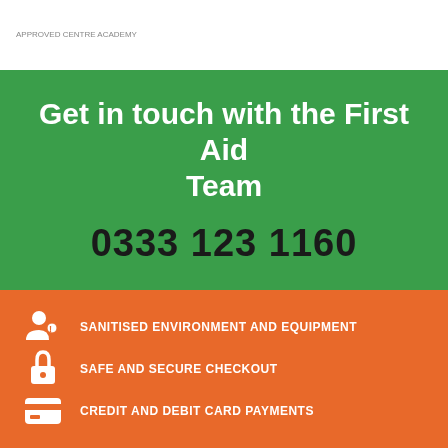APPROVED CENTRE ACADEMY
Get in touch with the First Aid Team
0333 123 1160
SANITISED ENVIRONMENT AND EQUIPMENT
SAFE AND SECURE CHECKOUT
CREDIT AND DEBIT CARD PAYMENTS